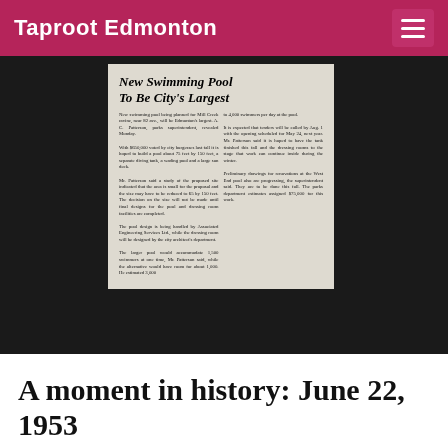Taproot Edmonton
[Figure (photo): Newspaper clipping with headline 'New Swimming Pool To Be City's Largest' with two columns of small body text about a new swimming pool planned for Mill Creek ravine, Edmonton, 1953.]
A moment in history: June 22, 1953